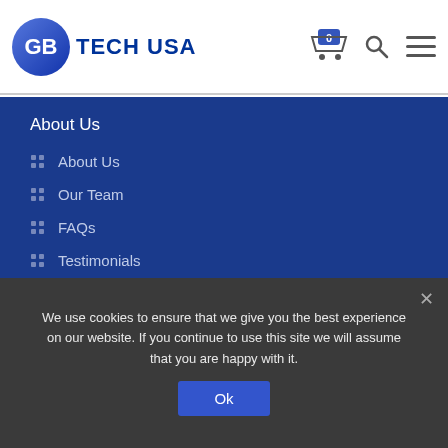GB TECH USA
About Us
About Us
Our Team
FAQs
Testimonials
GB Tech
We use cookies to ensure that we give you the best experience on our website. If you continue to use this site we will assume that you are happy with it.